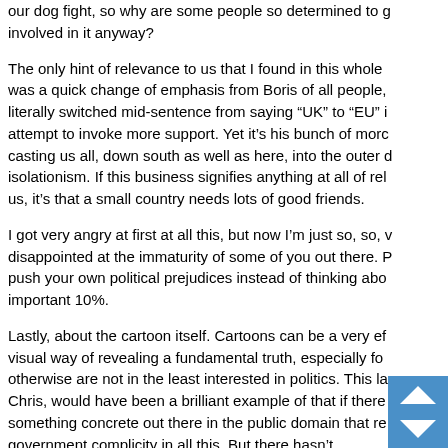our dog fight, so why are some people so determined to get involved in it anyway?
The only hint of relevance to us that I found in this whole was a quick change of emphasis from Boris of all people, literally switched mid-sentence from saying "UK" to "EU" in attempt to invoke more support. Yet it's his bunch of morons casting us all, down south as well as here, into the outer isolationism. If this business signifies anything at all of relevance us, it's that a small country needs lots of good friends.
I got very angry at first at all this, but now I'm just so, so, disappointed at the immaturity of some of you out there. Please push your own political prejudices instead of thinking about the important 10%.
Lastly, about the cartoon itself. Cartoons can be a very effective visual way of revealing a fundamental truth, especially for those who otherwise are not in the least interested in politics. This last one, Chris, would have been a brilliant example of that if there was something concrete out there in the public domain that revealed government complicity in all this. But there hasn't been and never will be because it just isn't true. So what we...